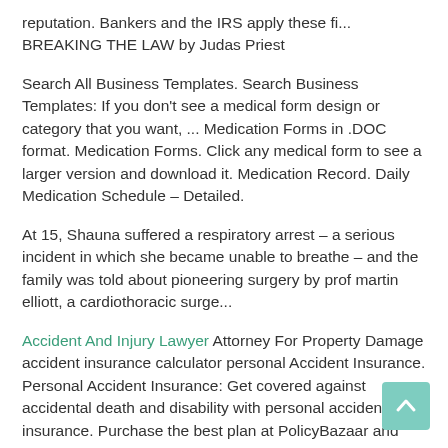reputation. Bankers and the IRS apply these fi... BREAKING THE LAW by Judas Priest
Search All Business Templates. Search Business Templates: If you don't see a medical form design or category that you want, ... Medication Forms in .DOC format. Medication Forms. Click any medical form to see a larger version and download it. Medication Record. Daily Medication Schedule – Detailed.
At 15, Shauna suffered a respiratory arrest – a serious incident in which she became unable to breathe – and the family was told about pioneering surgery by prof martin elliott, a cardiothoracic surge...
Accident And Injury Lawyer Attorney For Property Damage accident insurance calculator personal Accident Insurance. Personal Accident Insurance: Get covered against accidental death and disability with personal accident insurance. Purchase the best plan at PolicyBazaar and save